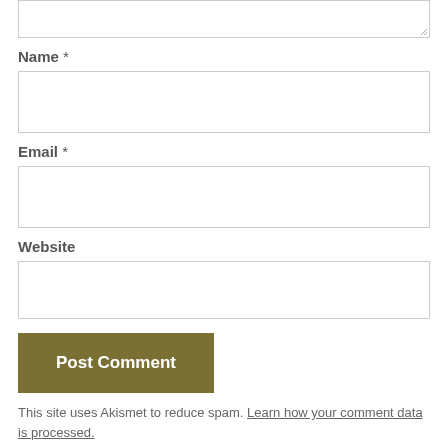[Figure (screenshot): Top portion of a comment form textarea input (partially visible at top of page)]
Name *
[Figure (screenshot): Name input field - empty text box]
Email *
[Figure (screenshot): Email input field - empty text box]
Website
[Figure (screenshot): Website input field - empty text box]
Post Comment
This site uses Akismet to reduce spam. Learn how your comment data is processed.